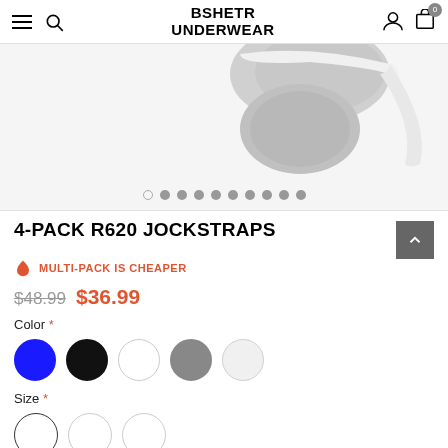BSHETR UNDERWEAR
[Figure (photo): Product photo of gray jockstrap underwear on white background with image carousel dots below]
4-PACK R620 JOCKSTRAPS
MULTI-PACK IS CHEAPER
$48.99  $36.99
Color *
Size *